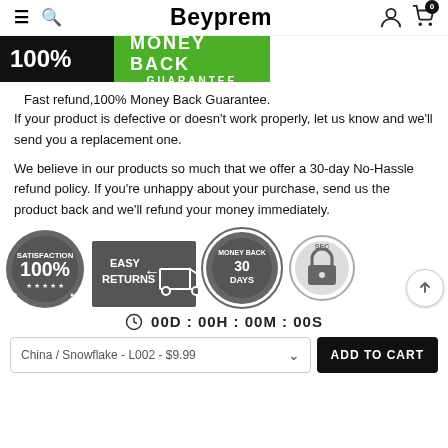Beyprem
[Figure (other): 100% Money Back Guarantee banner with black background for '100%' text and green background for 'MONEY BACK GUARANTEE' text]
Fast refund,100% Money Back Guarantee.
If your product is defective or doesn't work properly, let us know and we'll send you a replacement one.
We believe in our products so much that we offer a 30-day No-Hassle refund policy. If you're unhappy about your purchase, send us the product back and we'll refund your money immediately.
[Figure (infographic): Row of trust badge icons: 100% Satisfaction badge, Easy Returns truck icon, 30 Days Money Back badge, Secure lock badge]
00D : 00H : 00M : 00S
China / Snowflake - L002 - $9.99
ADD TO CART